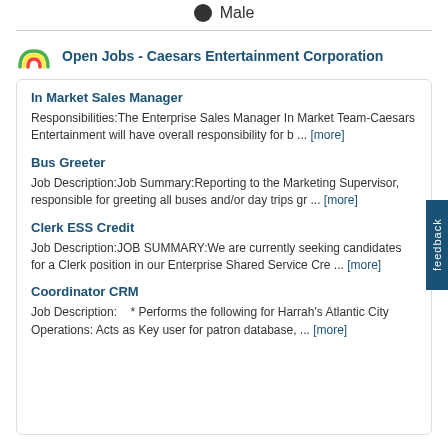Male
Open Jobs - Caesars Entertainment Corporation
In Market Sales Manager
Responsibilities:The Enterprise Sales Manager In Market Team-Caesars Entertainment will have overall responsibility for b ... [more]
Bus Greeter
Job Description:Job Summary:Reporting to the Marketing Supervisor, responsible for greeting all buses and/or day trips gr ... [more]
Clerk ESS Credit
Job Description:JOB SUMMARY:We are currently seeking candidates for a Clerk position in our Enterprise Shared Service Cre ... [more]
Coordinator CRM
Job Description:    * Performs the following for Harrah's Atlantic City Operations: Acts as Key user for patron database, ... [more]